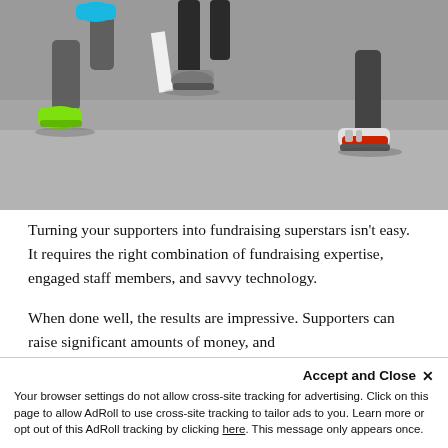[Figure (photo): Close-up photo of runners' feet and legs on asphalt pavement. Visible shoes include bright green/neon shoes on the left, blue shoes in the center, grey athletic shoes in the middle, and red/white/grey shoes on the right. The runners appear to be in a race or marathon.]
Turning your supporters into fundraising superstars isn't easy. It requires the right combination of fundraising expertise, engaged staff members, and savvy technology.
When done well, the results are impressive. Supporters can raise significant amounts of money, and
Accept and Close ✕
Your browser settings do not allow cross-site tracking for advertising. Click on this page to allow AdRoll to use cross-site tracking to tailor ads to you. Learn more or opt out of this AdRoll tracking by clicking here. This message only appears once.